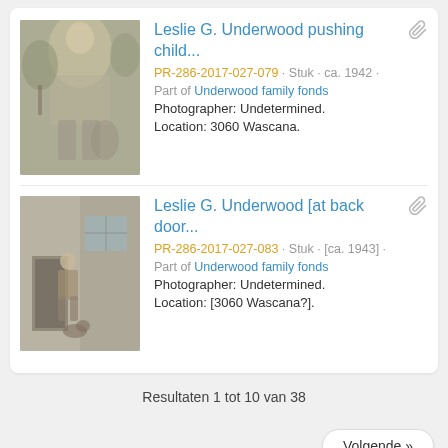[Figure (photo): Black and white thumbnail photo of Leslie G. Underwood pushing a child, outdoor scene with trees]
Leslie G. Underwood pushing child... PR-286-2017-027-079 · Stuk · ca. 1942 · Part of Underwood family fonds Photographer: Undetermined. Location: 3060 Wascana.
[Figure (photo): Black and white thumbnail photo of Leslie G. Underwood at back door, building exterior visible]
Leslie G. Underwood [at back door... PR-286-2017-027-083 · Stuk · [ca. 1943] · Part of Underwood family fonds Photographer: Undetermined. Location: [3060 Wascana?].
Resultaten 1 tot 10 van 38
Volgende »